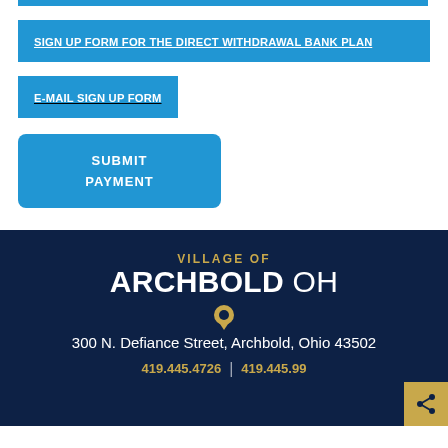SIGN UP FORM FOR THE DIRECT WITHDRAWAL BANK PLAN
E-MAIL SIGN UP FORM
SUBMIT PAYMENT
[Figure (logo): Village of Archbold OH logo with gold 'VILLAGE OF' text, large white 'ARCHBOLD OH' text, location pin icon in gold]
300 N. Defiance Street, Archbold, Ohio 43502
419.445.4726 | 419.445.99...